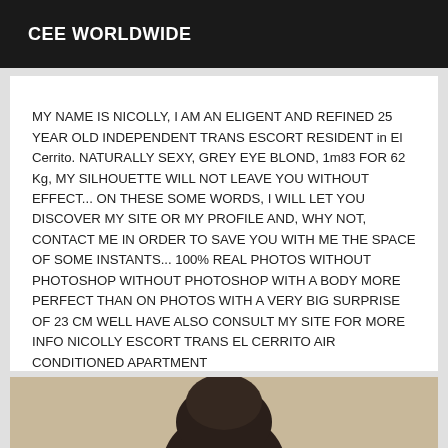CEE WORLDWIDE
MY NAME IS NICOLLY, I AM AN ELIGENT AND REFINED 25 YEAR OLD INDEPENDENT TRANS ESCORT RESIDENT in El Cerrito. NATURALLY SEXY, GREY EYE BLOND, 1m83 FOR 62 Kg, MY SILHOUETTE WILL NOT LEAVE YOU WITHOUT EFFECT... ON THESE SOME WORDS, I WILL LET YOU DISCOVER MY SITE OR MY PROFILE AND, WHY NOT, CONTACT ME IN ORDER TO SAVE YOU WITH ME THE SPACE OF SOME INSTANTS... 100% REAL PHOTOS WITHOUT PHOTOSHOP WITHOUT PHOTOSHOP WITH A BODY MORE PERFECT THAN ON PHOTOS WITH A VERY BIG SURPRISE OF 23 CM WELL HAVE ALSO CONSULT MY SITE FOR MORE INFO NICOLLY ESCORT TRANS EL CERRITO AIR CONDITIONED APARTMENT
[Figure (photo): Partial photo of a person, showing top of head/hair against a warm beige/tan background]